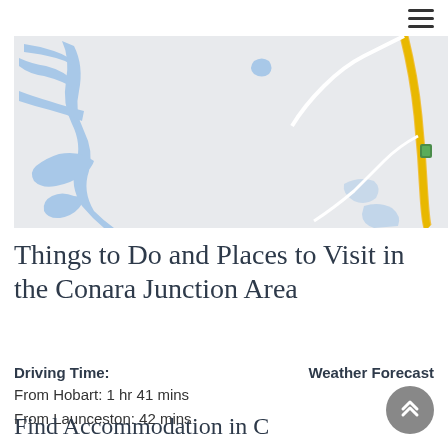≡
[Figure (map): Google Maps style map showing blue water bodies (lakes/rivers) on a light grey background, with a yellow highway and white roads on the right side, and a small green marker.]
Things to Do and Places to Visit in the Conara Junction Area
Driving Time:
From Hobart: 1 hr 41 mins
From Launceston: 42 mins
Weather Forecast
Find Accommodation in C...